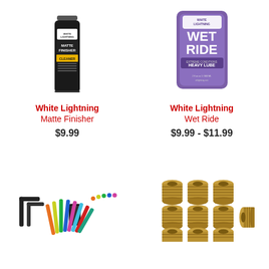[Figure (photo): White Lightning Matte Finisher spray bottle — black bottle with yellow and white label]
White Lightning
Matte Finisher
$9.99
[Figure (photo): White Lightning Wet Ride lube packet — purple packet with white text]
White Lightning
Wet Ride
$9.99 - $11.99
[Figure (photo): Set of colorful hex/allen key wrenches fanned out with a black holder]
[Figure (photo): Set of brass threaded inserts arranged in a 3x3+ grid with one on its side]